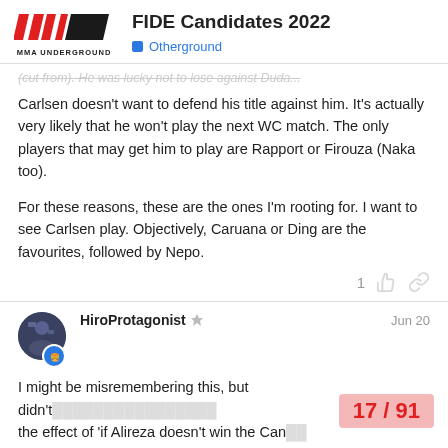FIDE Candidates 2022 — Otherground — MMA Underground
(cut from). He was lucky not to lose against Duda.
Carlsen doesn't want to defend his title against him. It's actually very likely that he won't play the next WC match. The only players that may get him to play are Rapport or Firouza (Naka too).
For these reasons, these are the ones I'm rooting for. I want to see Carlsen play. Objectively, Caruana or Ding are the favourites, followed by Nepo.
HiroProtagonist  Jun 20
I might be misremembering this, but didn't the effect of 'if Alireza doesn't win the Can
17 / 91